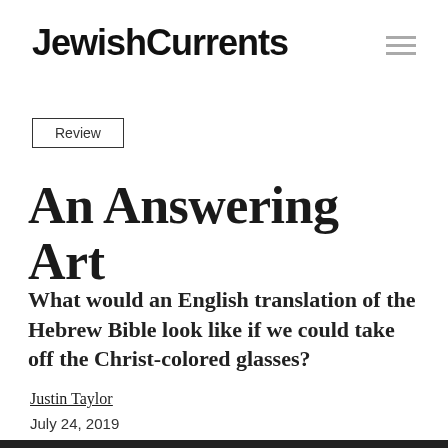JewishCurrents
Review
An Answering Art
What would an English translation of the Hebrew Bible look like if we could take off the Christ-colored glasses?
Justin Taylor
July 24, 2019